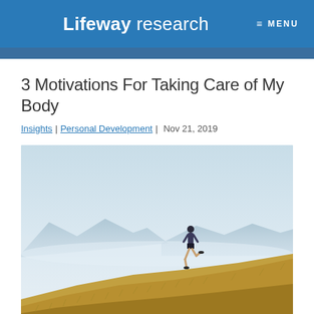Lifeway research   MENU
3 Motivations For Taking Care of My Body
Insights| Personal Development | Nov 21, 2019
[Figure (photo): A person running on a grassy hillside with mountain ranges and misty sky in the background; golden dry grass in the foreground.]